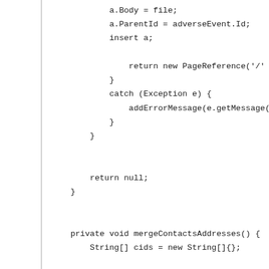a.Body = file;
            a.ParentId = adverseEvent.Id;
            insert a;

                return new PageReference('/' + adverseEven
            }
            catch (Exception e) {
                addErrorMessage(e.getMessage());
            }
        }


        return null;
    }


    private void mergeContactsAddresses() {
        String[] cids = new String[]{};

        for (String cid : toContacts.split(';')) {
            cids.add(cid);
        }
        for (String cid : ccContacts.split(';')) {